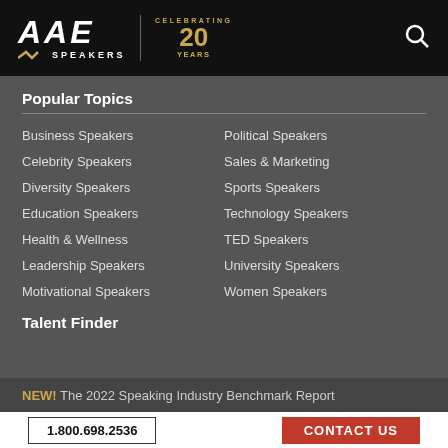[Figure (logo): AAE Speakers logo with 'Celebrating 20 Years' badge on black background]
Popular Topics
Business Speakers
Celebrity Speakers
Diversity Speakers
Education Speakers
Health & Wellness
Leadership Speakers
Motivational Speakers
Political Speakers
Sales & Marketing
Sports Speakers
Technology Speakers
TED Speakers
University Speakers
Women Speakers
Talent Finder
NEW! The 2022 Speaking Industry Benchmark Report
1.800.698.2536
CONTACT US